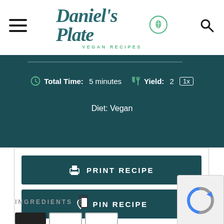[Figure (logo): Daniel's Plate Vegan Recipes logo with leaf icon in circle]
Total Time: 5 minutes   Yield: 2  1x
Diet: Vegan
PRINT RECIPE
PIN RECIPE
INGREDIENTS